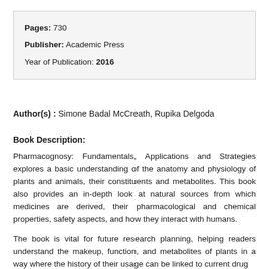Pages: 730
Publisher: Academic Press
Year of Publication: 2016
Author(s) : Simone Badal McCreath, Rupika Delgoda
Book Description:
Pharmacognosy: Fundamentals, Applications and Strategies explores a basic understanding of the anatomy and physiology of plants and animals, their constituents and metabolites. This book also provides an in-depth look at natural sources from which medicines are derived, their pharmacological and chemical properties, safety aspects, and how they interact with humans.
The book is vital for future research planning, helping readers understand the makeup, function, and metabolites of plants in a way where the history of their usage can be linked to current drug